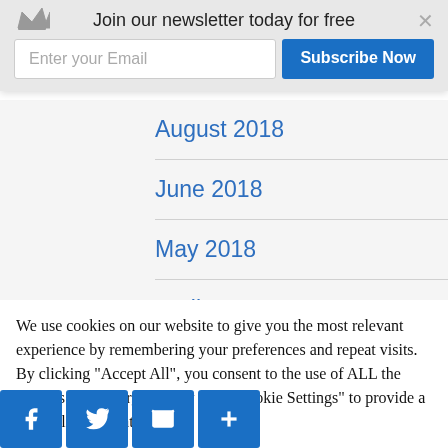Join our newsletter today for free
August 2018
June 2018
May 2018
April 2018
We use cookies on our website to give you the most relevant experience by remembering your preferences and repeat visits. By clicking “Accept All”, you consent to the use of ALL the cookies. However, you may visit “Cookie Settings” to provide a controlled consent.